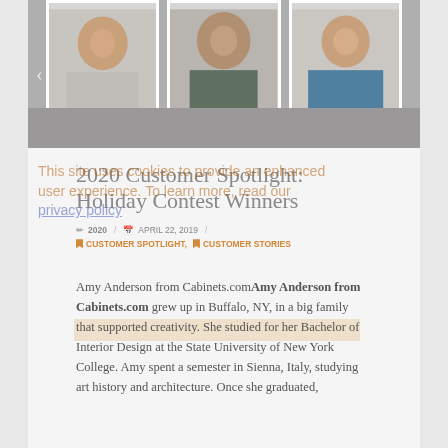[Figure (photo): Photo banner showing three people in framed portrait-style photos against a gray background. A left navigation arrow is visible on the left side.]
2020 Customer Spotlight: Holiday Contest Winners
2020 / APRIL 22, 2019 / CUSTOMER SPOTLIGHT, CUSTOMER STORIES
Amy Anderson from Cabinets.comAmy Anderson from Cabinets.com grew up in Buffalo, NY, in a big family that supported creativity. She studied for her Bachelor of Interior Design at the State University of New York College. Amy spent a semester in Sienna, Italy, studying art history and architecture. Once she graduated,